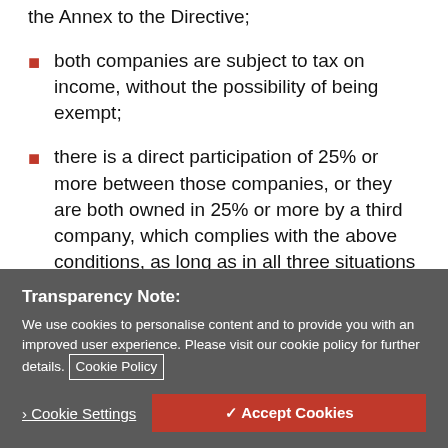the Annex to the Directive;
both companies are subject to tax on income, without the possibility of being exempt;
there is a direct participation of 25% or more between those companies, or they are both owned in 25% or more by a third company, which complies with the above conditions, as long as in all three situations a minimum two
Transparency Note:
We use cookies to personalise content and to provide you with an improved user experience. Please visit our cookie policy for further details. Cookie Policy
Cookie Settings   ✓ Accept Cookies